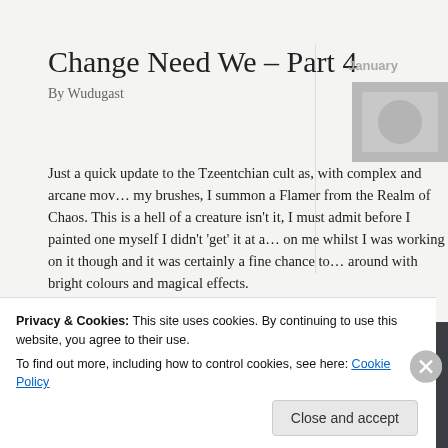Change Need We – Part 4
By Wudugast
Just a quick update to the Tzeentchian cult as, with complex and arcane mov… my brushes, I summon a Flamer from the Realm of Chaos. This is a hell of a creature isn't it, I must admit before I painted one myself I didn't 'get' it at a… on me whilst I was working on it though and it was certainly a fine chance to… around with bright colours and magical effects.
[Figure (photo): Painted miniature figurine of a Tzeentchian Flamer, blue and green, on a dark grey/charcoal background]
Privacy & Cookies: This site uses cookies. By continuing to use this website, you agree to their use.
To find out more, including how to control cookies, see here: Cookie Policy
Close and accept